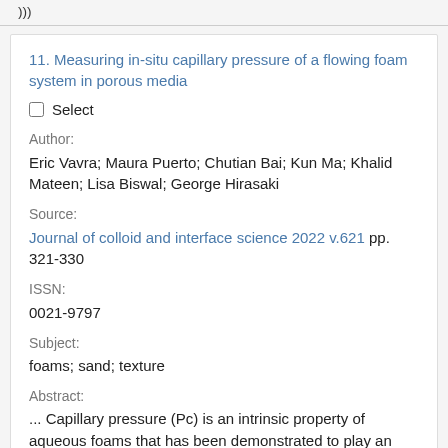)))
11. Measuring in-situ capillary pressure of a flowing foam system in porous media
☐ Select
Author:
Eric Vavra; Maura Puerto; Chutian Bai; Kun Ma; Khalid Mateen; Lisa Biswal; George Hirasaki
Source:
Journal of colloid and interface science 2022 v.621 pp. 321-330
ISSN:
0021-9797
Subject:
foams; sand; texture
Abstract:
... Capillary pressure (Pc) is an intrinsic property of aqueous foams that has been demonstrated to play an important